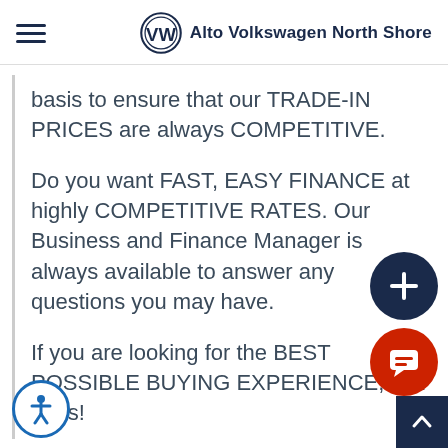Alto Volkswagen North Shore
basis to ensure that our TRADE-IN PRICES are always COMPETITIVE.
Do you want FAST, EASY FINANCE at highly COMPETITIVE RATES. Our Business and Finance Manager is always available to answer any questions you may have.
If you are looking for the BEST POSSIBLE BUYING EXPERIENCE, talk to us!